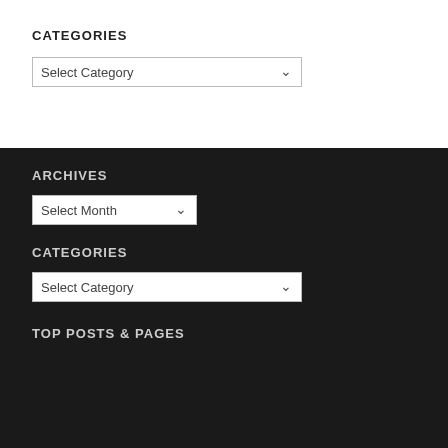CATEGORIES
Select Category
ARCHIVES
Select Month
CATEGORIES
Select Category
TOP POSTS & PAGES